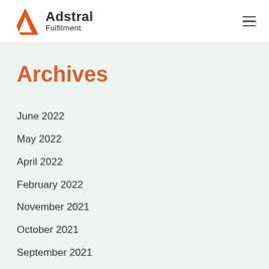Adstral Fulfilment
Archives
June 2022
May 2022
April 2022
February 2022
November 2021
October 2021
September 2021
July 2021